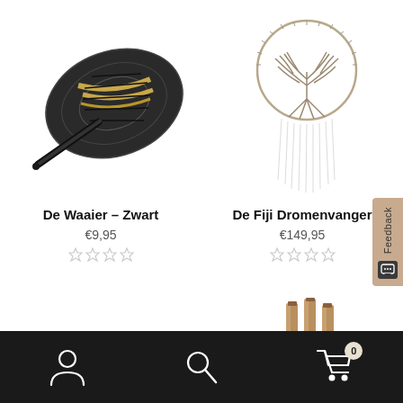[Figure (photo): Black woven fan with handle, oval shaped, dark metallic beaded decoration]
De Waaier – Zwart
€9,95
[Figure (photo): Fiji dreamcatcher with circular tree of life design at top, long dangling strings below]
De Fiji Dromenvanger
€149,95
[Figure (photo): Partial view of wooden clothespins at bottom of page]
Navigation bar with user account icon, search icon, and shopping cart icon showing 0 items